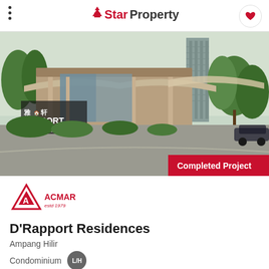StarProperty
[Figure (photo): Exterior rendering of D'Rapport Residences condominium showing entrance with logo signage, lush landscaping, a covered driveway canopy, and a high-rise tower in the background. A 'Completed Project' red badge appears in the bottom right.]
[Figure (logo): ACMAR developer logo — a red triangle/house icon with letter A inside and text ACMAR est. 1979]
D'Rapport Residences
Ampang Hilir
Condominium  L/H